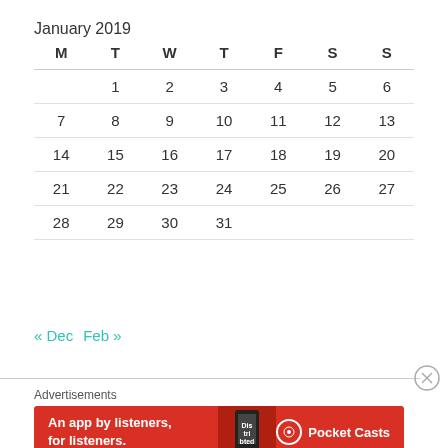January 2019
| M | T | W | T | F | S | S |
| --- | --- | --- | --- | --- | --- | --- |
|  | 1 | 2 | 3 | 4 | 5 | 6 |
| 7 | 8 | 9 | 10 | 11 | 12 | 13 |
| 14 | 15 | 16 | 17 | 18 | 19 | 20 |
| 21 | 22 | 23 | 24 | 25 | 26 | 27 |
| 28 | 29 | 30 | 31 |  |  |  |
« Dec  Feb »
Advertisements
[Figure (other): Pocket Casts advertisement banner: 'An app by listeners, for listeners.' with a phone graphic and Pocket Casts logo on red background]